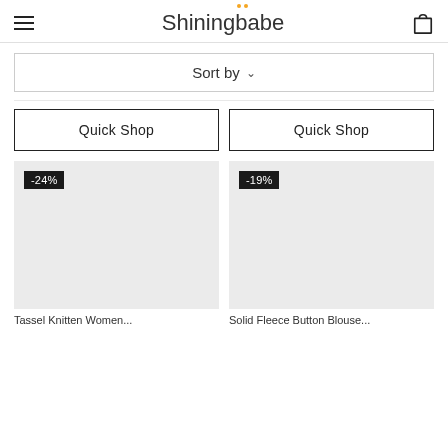Shiningbabe
Sort by
Quick Shop
Quick Shop
[Figure (photo): Product image placeholder with -24% discount badge]
[Figure (photo): Product image placeholder with -19% discount badge]
Tassel Knitten Women...
Solid Fleece Button Blouse...